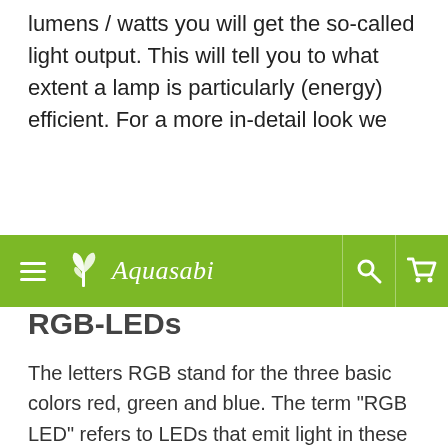lumens / watts you will get the so-called light output. This will tell you to what extent a lamp is particularly (energy) efficient. For a more in-detail look we
[Figure (screenshot): Aquasabi website navigation bar with green background, hamburger menu icon, Aquasabi logo with plant icon, search icon, and cart icon]
RGB-LEDs
The letters RGB stand for the three basic colors red, green and blue. The term "RGB LED" refers to LEDs that emit light in these colors. In freshwater aquatics, mostly blue and red LEDs are used to create certain light moods. Blue LEDs are popularly used as moonlight or to create a dusky mood, whereas red LEDs are excellent for simulating dawns and the rising